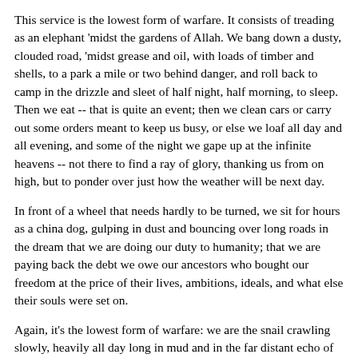This service is the lowest form of warfare. It consists of treading as an elephant 'midst the gardens of Allah. We bang down a dusty, clouded road, 'midst grease and oil, with loads of timber and shells, to a park a mile or two behind danger, and roll back to camp in the drizzle and sleet of half night, half morning, to sleep. Then we eat -- that is quite an event; then we clean cars or carry out some orders meant to keep us busy, or else we loaf all day and all evening, and some of the night we gape up at the infinite heavens -- not there to find a ray of glory, thanking us from on high, but to ponder over just how the weather will be next day.
In front of a wheel that needs hardly to be turned, we sit for hours as a china dog, gulping in dust and bouncing over long roads in the dream that we are doing our duty to humanity; that we are paying back the debt we owe our ancestors who bought our freedom at the price of their lives, ambitions, ideals, and what else their souls were set on.
Again, it's the lowest form of warfare: we are the snail crawling slowly, heavily all day long in mud and in the far distant echo of bugles, fire, charges, medals, praise ...
This service is most occupied with inaction; now and then only does it wake up, but only an awakening to sleep, for truck-driving soon becomes deaf and dumb slumber. Either one should stay in